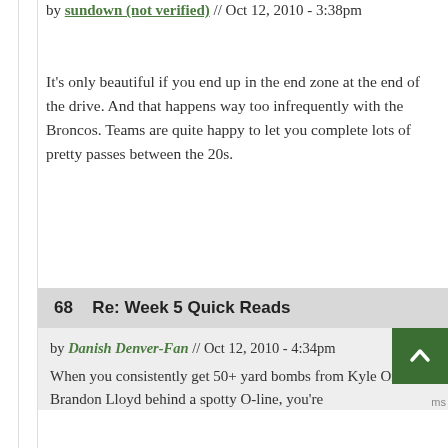by sundown (not verified) // Oct 12, 2010 - 3:38pm
It's only beautiful if you end up in the end zone at the end of the drive. And that happens way too infrequently with the Broncos. Teams are quite happy to let you complete lots of pretty passes between the 20s.
68  Re: Week 5 Quick Reads
by Danish Denver-Fan // Oct 12, 2010 - 4:34pm
When you consistently get 50+ yard bombs from Kyle Orton to Brandon Lloyd behind a spotty O-line, you're